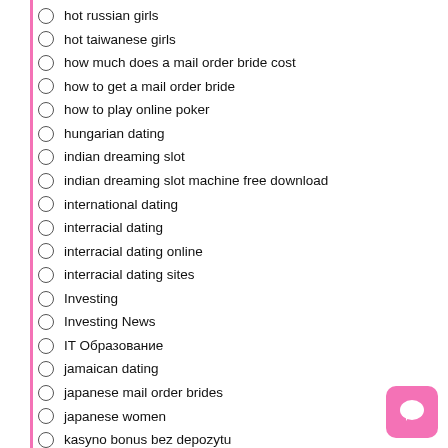hot russian girls
hot taiwanese girls
how much does a mail order bride cost
how to get a mail order bride
how to play online poker
hungarian dating
indian dreaming slot
indian dreaming slot machine free download
international dating
interracial dating
interracial dating online
interracial dating sites
Investing
Investing News
IT Образование
jamaican dating
japanese mail order brides
japanese women
kasyno bonus bez depozytu